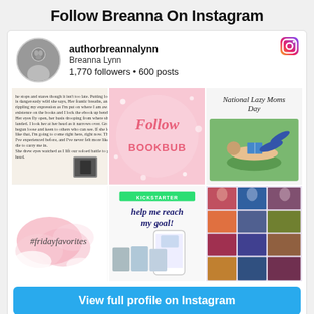Follow Breanna On Instagram
authorbreannalynn
Breanna Lynn
1,770 followers • 600 posts
[Figure (screenshot): Instagram profile grid showing 6 posts: text excerpt post, pink sparkly Follow BookBub post, National Lazy Moms Day with woman reading, #fridayfavorites watercolor post, Kickstarter help me reach my goal with book covers, and a collage of book covers]
View full profile on Instagram